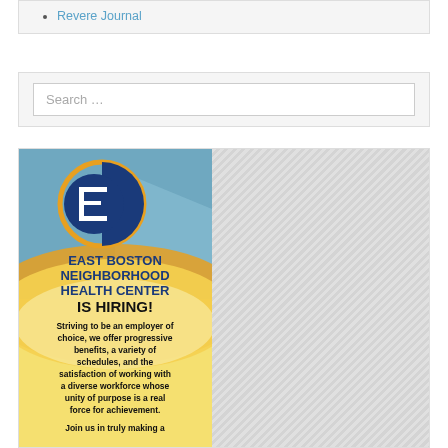Revere Journal
[Figure (screenshot): Search box widget with placeholder text 'Search ...']
[Figure (infographic): East Boston Neighborhood Health Center IS HIRING! advertisement. Blue and yellow background with circular logo. Text: Striving to be an employer of choice, we offer progressive benefits, a variety of schedules, and the satisfaction of working with a diverse workforce whose unity of purpose is a real force for achievement. Join us in truly making a]